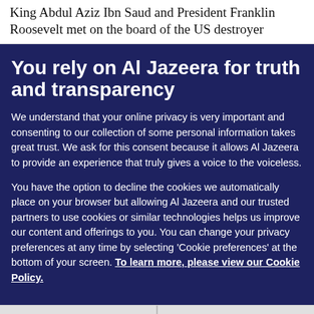King Abdul Aziz Ibn Saud and President Franklin Roosevelt met on the board of the US destroyer
You rely on Al Jazeera for truth and transparency
We understand that your online privacy is very important and consenting to our collection of some personal information takes great trust. We ask for this consent because it allows Al Jazeera to provide an experience that truly gives a voice to the voiceless.
You have the option to decline the cookies we automatically place on your browser but allowing Al Jazeera and our trusted partners to use cookies or similar technologies helps us improve our content and offerings to you. You can change your privacy preferences at any time by selecting 'Cookie preferences' at the bottom of your screen. To learn more, please view our Cookie Policy.